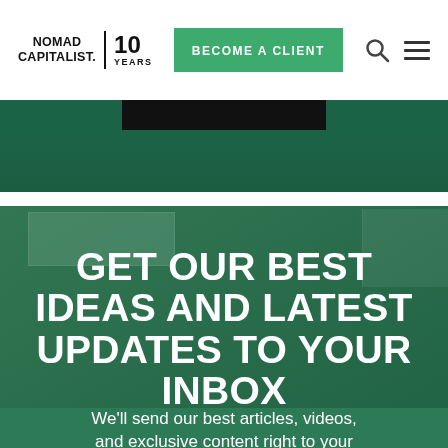NOMAD CAPITALIST. 10 YEARS | BECOME A CLIENT
[Figure (screenshot): Dark green banner with a black rectangle at top, appearing to be a video thumbnail or decorative element]
GET OUR BEST IDEAS AND LATEST UPDATES TO YOUR INBOX
We'll send our best articles, videos, and exclusive content right to your